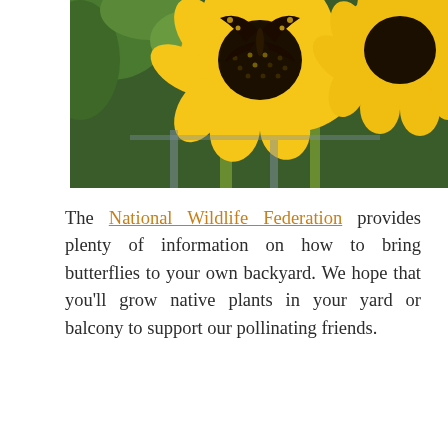[Figure (photo): Close-up photo of a black and yellow butterfly (Eastern Tiger Swallowtail or similar) perched on a large yellow sunflower, with green foliage in the background.]
The National Wildlife Federation provides plenty of information on how to bring butterflies to your own backyard. We hope that you'll grow native plants in your yard or balcony to support our pollinating friends.
[Figure (photo): Photo of a pale yellow-green butterfly (likely a Cabbage White or Clouded Sulphur) resting among small purple wildflowers and green foliage.]